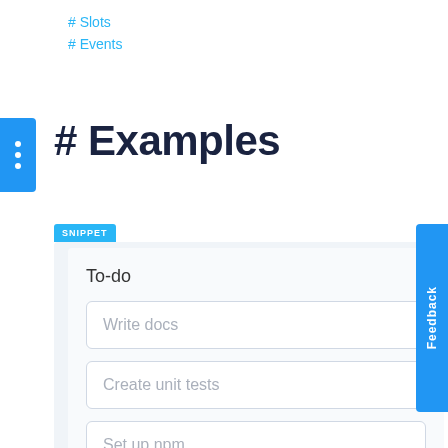# Slots
# Events
# Examples
[Figure (screenshot): A SNIPPET panel showing a to-do list UI with three items: 'Write docs', 'Create unit tests', 'Set up npm'. There is a blue 'SNIPPET' badge at the top left of the panel and a blue vertical 'Feedback' tab on the right side.]